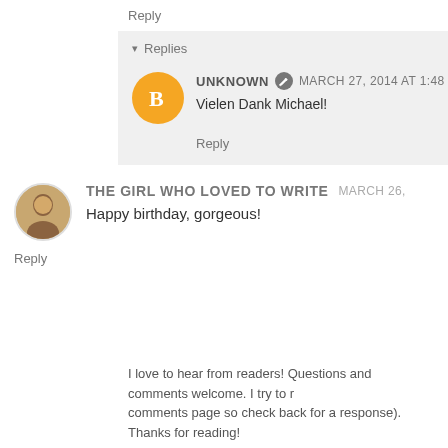Reply
▾ Replies
UNKNOWN  MARCH 27, 2014 AT 1:48
Vielen Dank Michael!
Reply
THE GIRL WHO LOVED TO WRITE  MARCH 26,
Happy birthday, gorgeous!
Reply
I love to hear from readers! Questions and comments welcome. I try to r... comments page so check back for a response). Thanks for reading!